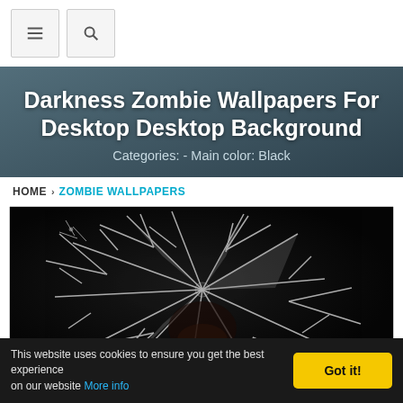Navigation bar with menu and search buttons
Darkness Zombie Wallpapers For Desktop Desktop Background
Categories: - Main color: Black
HOME > ZOMBIE WALLPAPERS
[Figure (photo): Broken glass or cracked screen close-up on dark/black background, with shattered glass fragments radiating from a central impact point]
This website uses cookies to ensure you get the best experience on our website More info Got it!